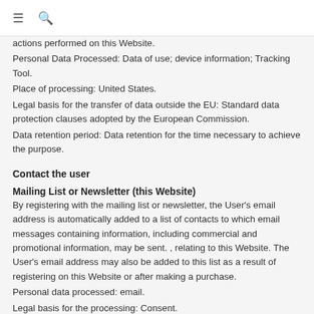≡ 🔍
actions performed on this Website.
Personal Data Processed: Data of use; device information; Tracking Tool.
Place of processing: United States.
Legal basis for the transfer of data outside the EU: Standard data protection clauses adopted by the European Commission.
Data retention period: Data retention for the time necessary to achieve the purpose.
Contact the user
Mailing List or Newsletter (this Website)
By registering with the mailing list or newsletter, the User's email address is automatically added to a list of contacts to which email messages containing information, including commercial and promotional information, may be sent. , relating to this Website. The User's email address may also be added to this list as a result of registering on this Website or after making a purchase.
Personal data processed: email.
Legal basis for the processing: Consent.